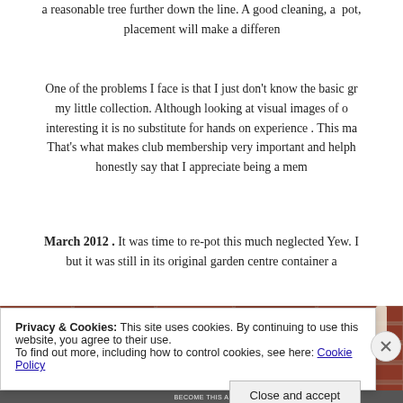a reasonable tree further down the line. A good cleaning, a pot, placement will make a differ...
One of the problems I face is that I just don't know the basic gr... my little collection. Although looking at visual images of o... interesting it is no substitute for hands on experience . This ma... That's what makes club membership very important and helph... honestly say that I appreciate being a mem...
March 2012 . It was time to re-pot this much neglected Yew. I... but it was still in its original garden centre container a...
[Figure (photo): Partial view of a brick wall background, appears to be a garden or outdoor setting]
Privacy & Cookies: This site uses cookies. By continuing to use this website, you agree to their use. To find out more, including how to control cookies, see here: Cookie Policy
Close and accept